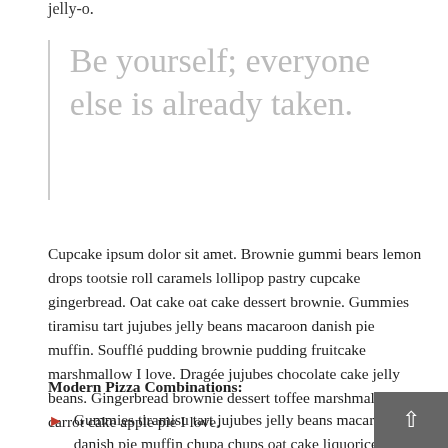jelly-o.
Be yourself; everyone else is already taken.
Cupcake ipsum dolor sit amet. Brownie gummi bears lemon drops tootsie roll caramels lollipop pastry cupcake gingerbread. Oat cake oat cake dessert brownie. Gummies tiramisu tart jujubes jelly beans macaroon danish pie muffin. Soufflé pudding brownie pudding fruitcake marshmallow I love. Dragée jujubes chocolate cake jelly beans. Gingerbread brownie dessert toffee marshmallow carrot cake apple pie I love.
Modern Pizza Combinations:
Gummies tiramisu tart jujubes jelly beans macaroon danish pie muffin chupa chups oat cake liquorice.